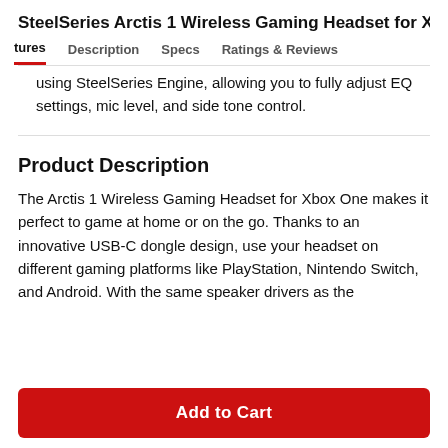SteelSeries Arctis 1 Wireless Gaming Headset for Xb
tures  Description  Specs  Ratings & Reviews
using SteelSeries Engine, allowing you to fully adjust EQ settings, mic level, and side tone control.
Product Description
The Arctis 1 Wireless Gaming Headset for Xbox One makes it perfect to game at home or on the go. Thanks to an innovative USB-C dongle design, use your headset on different gaming platforms like PlayStation, Nintendo Switch, and Android. With the same speaker drivers as the
Add to Cart